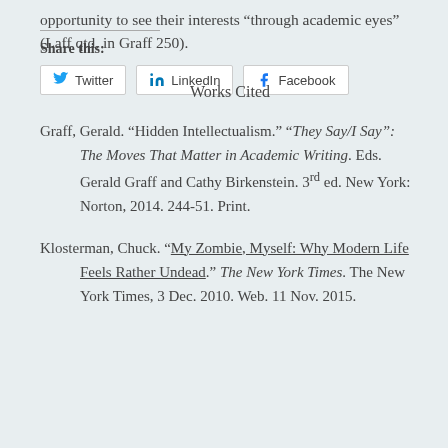opportunity to see their interests “through academic eyes” (Laff qtd. in Graff 250).
Works Cited
Graff, Gerald. “Hidden Intellectualism.” “They Say/I Say”: The Moves That Matter in Academic Writing. Eds. Gerald Graff and Cathy Birkenstein. 3rd ed. New York: Norton, 2014. 244-51. Print.
Klosterman, Chuck. “My Zombie, Myself: Why Modern Life Feels Rather Undead.” The New York Times. The New York Times, 3 Dec. 2010. Web. 11 Nov. 2015.
Share this:
Twitter  LinkedIn  Facebook